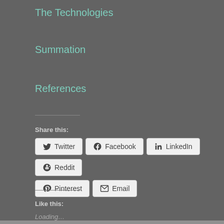The Technologies
Summation
References
Share this:
Twitter  Facebook  LinkedIn  Reddit  Pinterest  Email
Like this:
Loading…